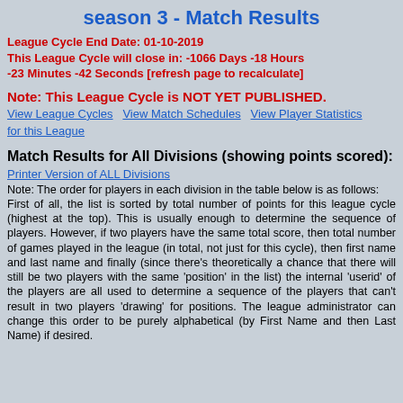season 3 - Match Results
League Cycle End Date: 01-10-2019
This League Cycle will close in: -1066 Days -18 Hours -23 Minutes -42 Seconds [refresh page to recalculate]
Note: This League Cycle is NOT YET PUBLISHED.
View League Cycles   View Match Schedules   View Player Statistics for this League
Match Results for All Divisions (showing points scored):
Printer Version of ALL Divisions
Note: The order for players in each division in the table below is as follows:
First of all, the list is sorted by total number of points for this league cycle (highest at the top). This is usually enough to determine the sequence of players. However, if two players have the same total score, then total number of games played in the league (in total, not just for this cycle), then first name and last name and finally (since there's theoretically a chance that there will still be two players with the same 'position' in the list) the internal 'userid' of the players are all used to determine a sequence of the players that can't result in two players 'drawing' for positions. The league administrator can change this order to be purely alphabetical (by First Name and then Last Name) if desired.